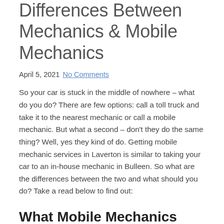Differences Between Mechanics & Mobile Mechanics
April 5, 2021 No Comments
So your car is stuck in the middle of nowhere – what do you do? There are few options: call a toll truck and take it to the nearest mechanic or call a mobile mechanic. But what a second – don't they do the same thing? Well, yes they kind of do. Getting mobile mechanic services in Laverton is similar to taking your car to an in-house mechanic in Bulleen. So what are the differences between the two and what should you do? Take a read below to find out:
What Mobile Mechanics Offer:
As you can imagine: mobile mechanics are basic mechanics on the road. Their job is to help you in those hours of need when you are